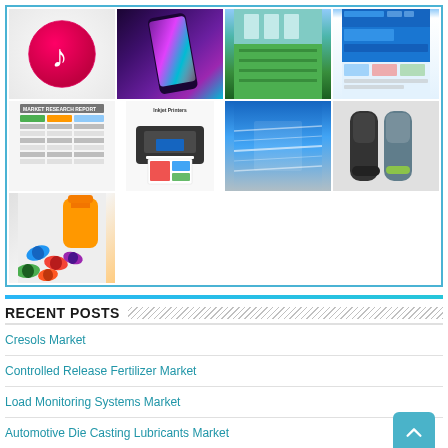[Figure (infographic): Grid of 9 thumbnail images: iTunes logo, colorful smartphone, factory/industrial interior, website screenshot, market analysis table, inkjet printer with colored output, blurred industrial/speed photo, electric shaver products, colorful pills/capsules spilling from bottle]
RECENT POSTS
Cresols Market
Controlled Release Fertilizer Market
Load Monitoring Systems Market
Automotive Die Casting Lubricants Market
Automotive Catalytic Converter Market